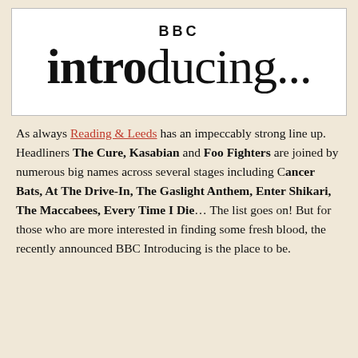[Figure (logo): BBC Introducing... logo in black text on white background inside a bordered box]
As always Reading & Leeds has an impeccably strong line up. Headliners The Cure, Kasabian and Foo Fighters are joined by numerous big names across several stages including Cancer Bats, At The Drive-In, The Gaslight Anthem, Enter Shikari, The Maccabees, Every Time I Die… The list goes on! But for those who are more interested in finding some fresh blood, the recently announced BBC Introducing is the place to be.